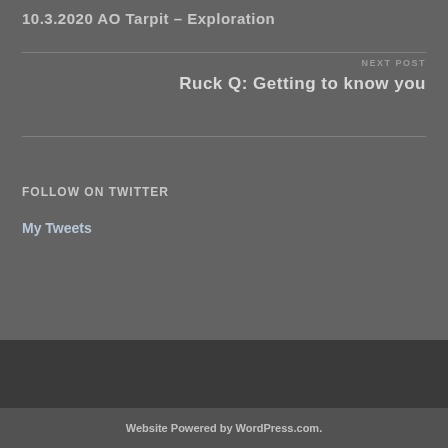10.3.2020 AO Tarpit – Exploration
NEXT POST
Ruck Q: Getting to know you
FOLLOW ON TWITTER
My Tweets
Website Powered by WordPress.com.